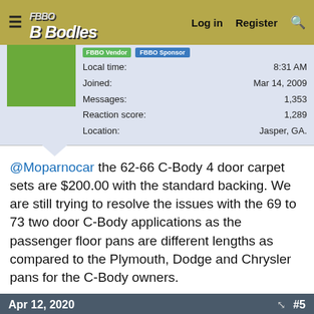≡  BBodies  Log in  Register  🔍
FBBO Vendor  FBBO Sponsor
Local time: 8:31 AM
Joined: Mar 14, 2009
Messages: 1,353
Reaction score: 1,289
Location: Jasper, GA.
@Moparnocar the 62-66 C-Body 4 door carpet sets are $200.00 with the standard backing. We are still trying to resolve the issues with the 69 to 73 two door C-Body applications as the passenger floor pans are different lengths as compared to the Plymouth, Dodge and Chrysler pans for the C-Body owners.
Apr 12, 2020  #5
This site uses cookies to help personalise content, tailor your experience and to keep you logged in if you register.
By continuing to use this site, you are consenting to our use of cookies.
✓ Accept   Learn more...